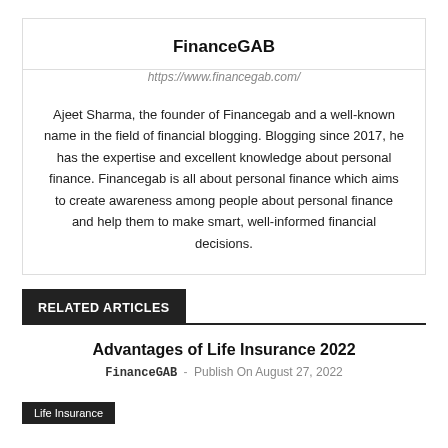FinanceGAB
https://www.financegab.com/
Ajeet Sharma, the founder of Financegab and a well-known name in the field of financial blogging. Blogging since 2017, he has the expertise and excellent knowledge about personal finance. Financegab is all about personal finance which aims to create awareness among people about personal finance and help them to make smart, well-informed financial decisions.
RELATED ARTICLES
Advantages of Life Insurance 2022
FinanceGAB - Publish On August 27, 2022
Life Insurance